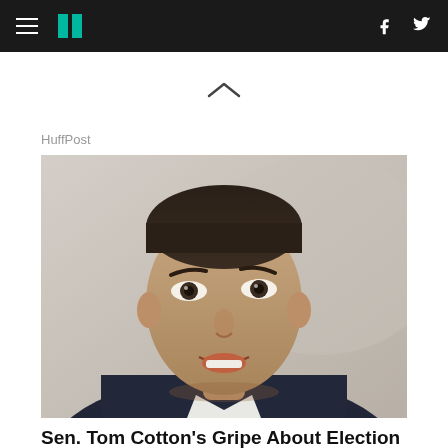HuffPost navigation bar
[Figure (photo): Upward chevron arrow icon on white background]
HuffPost
[Figure (photo): Close-up photo of Sen. Tom Cotton, a man in a dark suit with short dark hair, mouth open, speaking]
Sen. Tom Cotton's Gripe About Election 'Scam' Spectacularly Backfires
HuffPost
[Figure (photo): Partial photo of a large hamburger/burger with toppings]